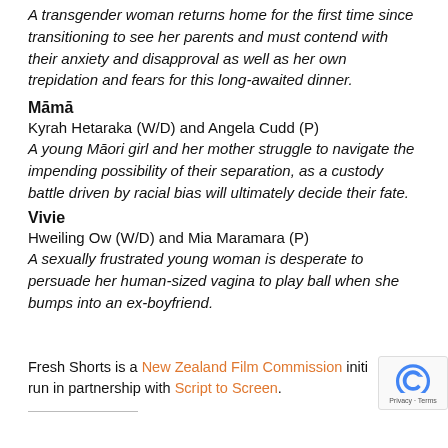A transgender woman returns home for the first time since transitioning to see her parents and must contend with their anxiety and disapproval as well as her own trepidation and fears for this long-awaited dinner.
Māmā
Kyrah Hetaraka (W/D) and Angela Cudd (P)
A young Māori girl and her mother struggle to navigate the impending possibility of their separation, as a custody battle driven by racial bias will ultimately decide their fate.
Vivie
Hweiling Ow (W/D) and Mia Maramara (P)
A sexually frustrated young woman is desperate to persuade her human-sized vagina to play ball when she bumps into an ex-boyfriend.
Fresh Shorts is a New Zealand Film Commission initiative run in partnership with Script to Screen.